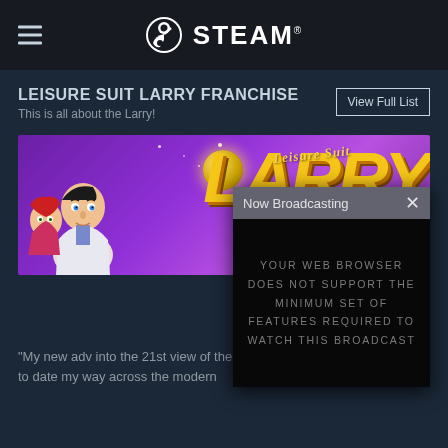STEAM
LEISURE SUIT LARRY FRANCHISE
This is all about the Larry!
[Figure (screenshot): Leisure Suit Larry franchise banner with character illustrations on purple background and yellow 'LARRY' title text]
[Figure (screenshot): Now Broadcasting overlay popup with dark video area showing error: YOUR WEB BROWSER DOES NOT SUPPORT THE MINIMUM SET OF FEATURES REQUIRED TO WATCH THIS BROADCAST]
"My new adv into the 21st view of the w with modern reality, I'm all set to date my way across the modern